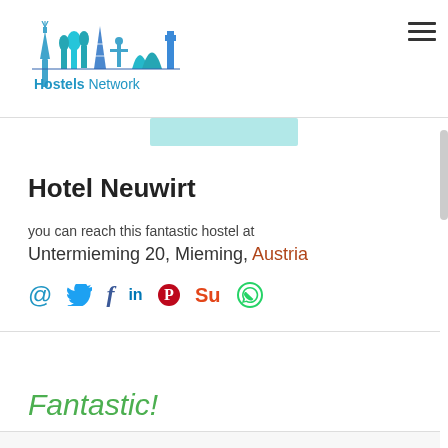Hostels Network
[Figure (logo): Hostels Network logo with city skyline silhouette in blue and teal with text 'Hostels Network']
Hotel Neuwirt
you can reach this fantastic hostel at
Untermieming 20, Mieming, Austria
@ [twitter] [facebook] [linkedin] [pinterest] [stumbleupon] [whatsapp]
Fantastic!
0